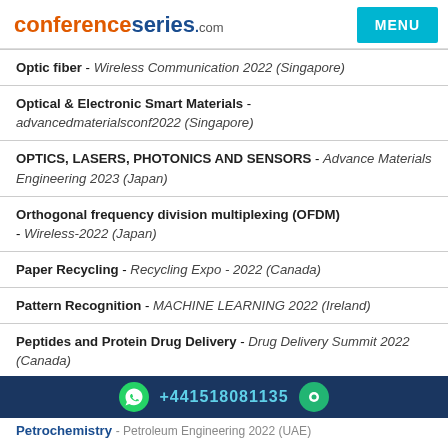conferenceseries.com | MENU
Optic fiber - Wireless Communication 2022 (Singapore)
Optical & Electronic Smart Materials - advancedmaterialsconf2022 (Singapore)
OPTICS, LASERS, PHOTONICS AND SENSORS - Advance Materials Engineering 2023 (Japan)
Orthogonal frequency division multiplexing (OFDM) - Wireless-2022 (Japan)
Paper Recycling - Recycling Expo - 2022 (Canada)
Pattern Recognition - MACHINE LEARNING 2022 (Ireland)
Peptides and Protein Drug Delivery - Drug Delivery Summit 2022 (Canada)
+441518081135
Petrochemistry - Petroleum Engineering 2022 (UAE)